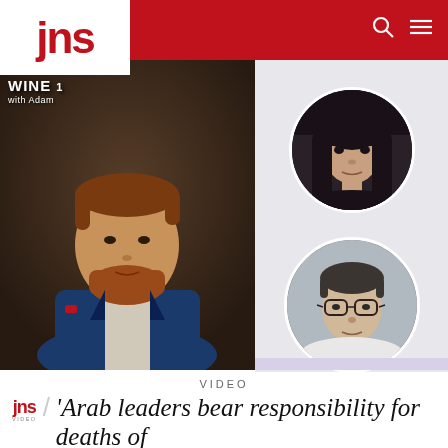jns
[Figure (photo): Large photo of a man with reddish-brown hair and beard wearing a blue suit, with a WINE with Adam label overlay in upper left]
[Figure (photo): Circular cropped photo of a woman with dark hair and bangs]
[Figure (photo): Circular cropped photo of a man wearing glasses]
VIDEO
jns / 'Arab leaders bear responsibility for deaths of